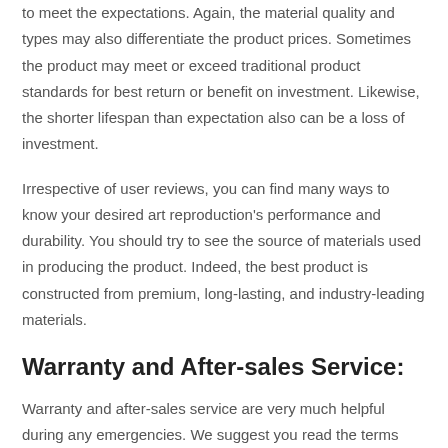to meet the expectations. Again, the material quality and types may also differentiate the product prices. Sometimes the product may meet or exceed traditional product standards for best return or benefit on investment. Likewise, the shorter lifespan than expectation also can be a loss of investment.
Irrespective of user reviews, you can find many ways to know your desired art reproduction's performance and durability. You should try to see the source of materials used in producing the product. Indeed, the best product is constructed from premium, long-lasting, and industry-leading materials.
Warranty and After-sales Service:
Warranty and after-sales service are very much helpful during any emergencies. We suggest you read the terms and conditions of serving the manufacturer or the seller after and before the purchase.